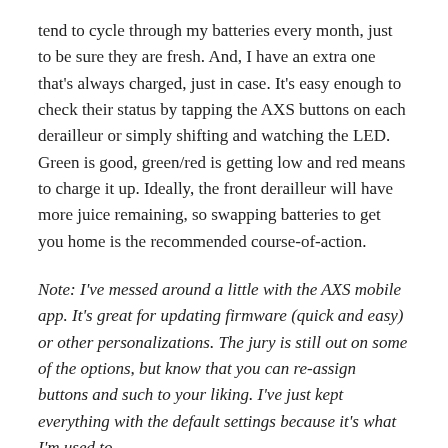tend to cycle through my batteries every month, just to be sure they are fresh. And, I have an extra one that's always charged, just in case. It's easy enough to check their status by tapping the AXS buttons on each derailleur or simply shifting and watching the LED. Green is good, green/red is getting low and red means to charge it up. Ideally, the front derailleur will have more juice remaining, so swapping batteries to get you home is the recommended course-of-action.
Note: I've messed around a little with the AXS mobile app. It's great for updating firmware (quick and easy) or other personalizations. The jury is still out on some of the options, but know that you can re-assign buttons and such to your liking. I've just kept everything with the default settings because it's what I'm used to.